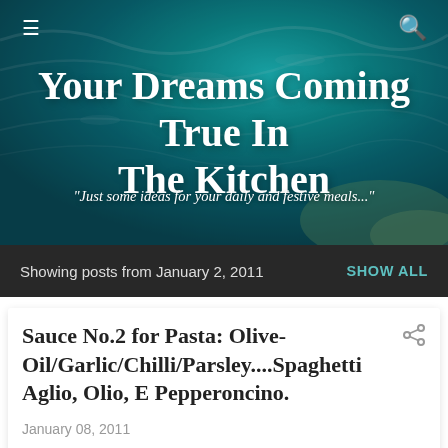[Figure (photo): Aerial/overhead photo of ocean water with teal and turquoise colors forming the blog header background]
Your Dreams Coming True In The Kitchen
"Just some ideas for your daily and festive meals..."
Showing posts from January 2, 2011   SHOW ALL
Sauce No.2 for Pasta: Olive-Oil/Garlic/Chilli/Parsley....Spaghetti Aglio, Olio, E Pepperoncino.
January 08, 2011
This recipe is one of the quickest you can